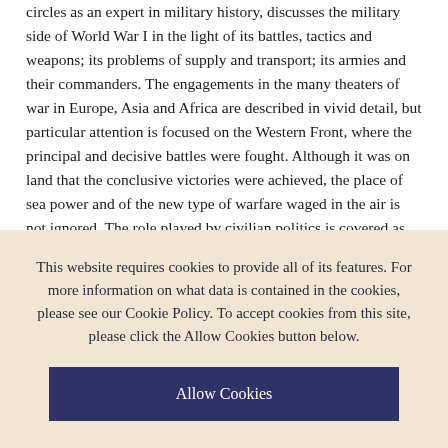circles as an expert in military history, discusses the military side of World War I in the light of its battles, tactics and weapons; its problems of supply and transport; its armies and their commanders. The engagements in the many theaters of war in Europe, Asia and Africa are described in vivid detail, but particular attention is focused on the Western Front, where the principal and decisive battles were fought. Although it was on land that the conclusive victories were achieved, the place of sea power and of the new type of warfare waged in the air is not ignored. The role played by civilian politics is covered as well, particularly in situations where it had direct bearing on the fighting--such as in Sarajevo in 1914 where a spark touched off the Central European powder keg and signaled the beginning of the war; the political considerations which caused the US as well as Romania, Bulgaria, and Italy to enter the war late; and the revolution which caused Russia to leave it early. In telling how World War I was fought and why it developed as it did, Captain Falls decisively refutes the notion that World War I was an interlude of senseless and irresponsible slaughter during which military art stood still. He reminds us that it was a war
This website requires cookies to provide all of its features. For more information on what data is contained in the cookies, please see our Cookie Policy. To accept cookies from this site, please click the Allow Cookies button below.
Allow Cookies